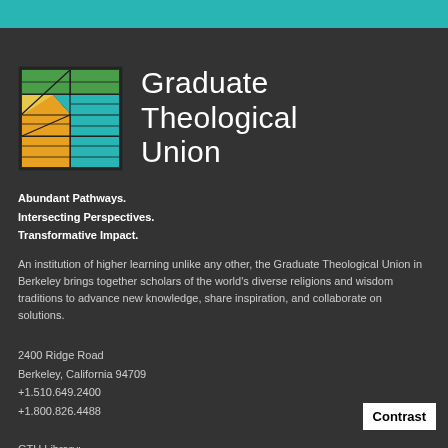[Figure (logo): Graduate Theological Union mosaic logo with colored geometric panels in green, teal, yellow, orange]
Graduate Theological Union
Abundant Pathways.
Intersecting Perspectives.
Transformative Impact.
An institution of higher learning unlike any other, the Graduate Theological Union in Berkeley brings together scholars of the world's diverse religions and wisdom traditions to advance new knowledge, share inspiration, and collaborate on solutions.
2400 Ridge Road
Berkeley, California 94709
+1.510.649.2400
+1.800.826.4488
GTU Library:
Contrast